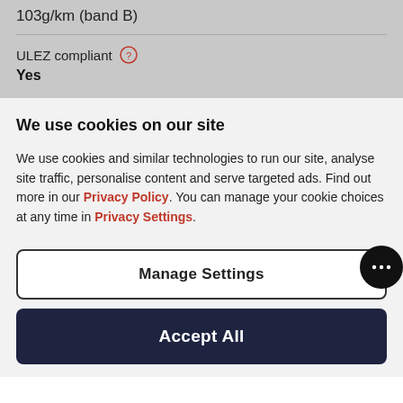103g/km (band B)
ULEZ compliant  Yes
We use cookies on our site
We use cookies and similar technologies to run our site, analyse site traffic, personalise content and serve targeted ads. Find out more in our Privacy Policy. You can manage your cookie choices at any time in Privacy Settings.
Manage Settings
Accept All